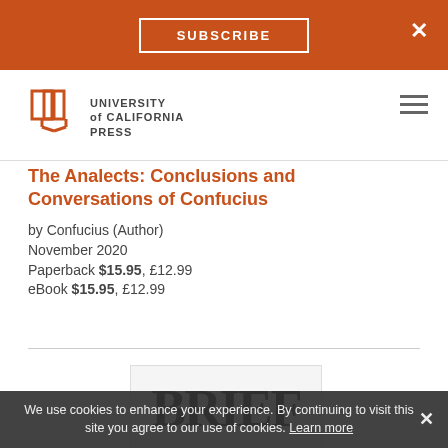SUBSCRIBE
[Figure (logo): University of California Press logo — open book icon with the text UNIVERSITY of CALIFORNIA PRESS]
The Analects: Conclusions and Conversations of Confucius
by Confucius (Author)
November 2020
Paperback $15.95, £12.99
eBook $15.95, £12.99
[Figure (photo): Partial book cover showing large bold serif text — appears to be the beginning of the word 'BRIEF' or similar]
We use cookies to enhance your experience. By continuing to visit this site you agree to our use of cookies. Learn more